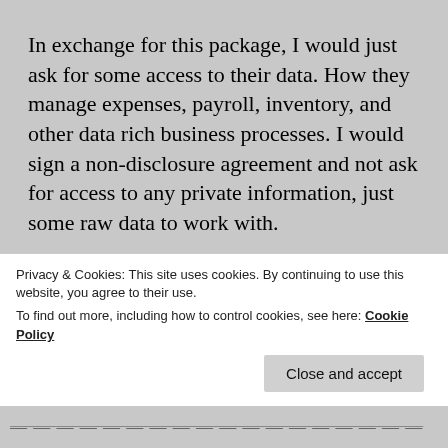In exchange for this package, I would just ask for some access to their data. How they manage expenses, payroll, inventory, and other data rich business processes. I would sign a non-disclosure agreement and not ask for access to any private information, just some raw data to work with.
I am happy to elaborate more, if you know someone who is interested. Thanks for your time and consideration.
Privacy & Cookies: This site uses cookies. By continuing to use this website, you agree to their use.
To find out more, including how to control cookies, see here: Cookie Policy
Close and accept
— — — — — — — — — — — — — — — — — —